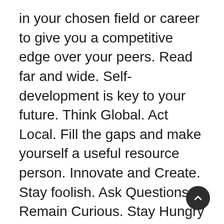in your chosen field or career to give you a competitive edge over your peers. Read far and wide. Self-development is key to your future. Think Global. Act Local. Fill the gaps and make yourself a useful resource person. Innovate and Create. Stay foolish. Ask Questions. Remain Curious. Stay Hungry for knowledge. Read often. Readers are Leaders. You are what you read. Develop a reading culture.
On Building relationships: Network and Connect. Scene and Be Seen. Always